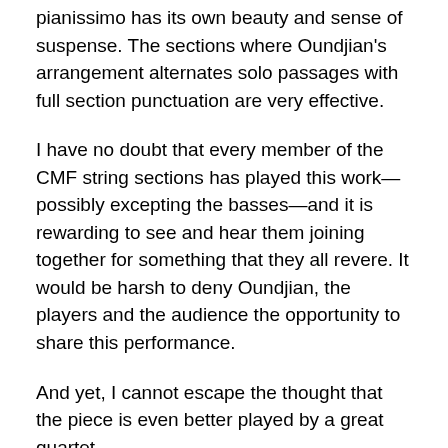pianissimo has its own beauty and sense of suspense. The sections where Oundjian's arrangement alternates solo passages with full section punctuation are very effective.
I have no doubt that every member of the CMF string sections has played this work—possibly excepting the basses—and it is rewarding to see and hear them joining together for something that they all revere. It would be harsh to deny Oundjian, the players and the audience the opportunity to share this performance.
And yet, I cannot escape the thought that the piece is even better played by a great quartet.
Share this: